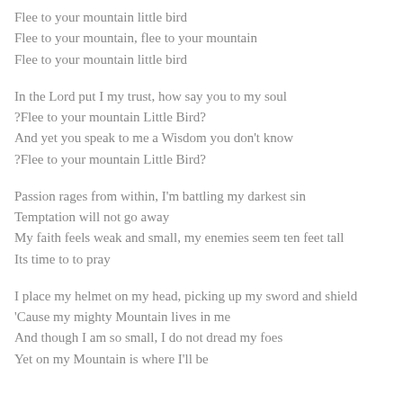Flee to your mountain little bird
Flee to your mountain, flee to your mountain
Flee to your mountain little bird
In the Lord put I my trust, how say you to my soul
?Flee to your mountain Little Bird?
And yet you speak to me a Wisdom you don't know
?Flee to your mountain Little Bird?
Passion rages from within, I'm battling my darkest sin
Temptation will not go away
My faith feels weak and small, my enemies seem ten feet tall
Its time to to pray
I place my helmet on my head, picking up my sword and shield
'Cause my mighty Mountain lives in me
And though I am so small, I do not dread my foes
Yet on my Mountain is where I'll be